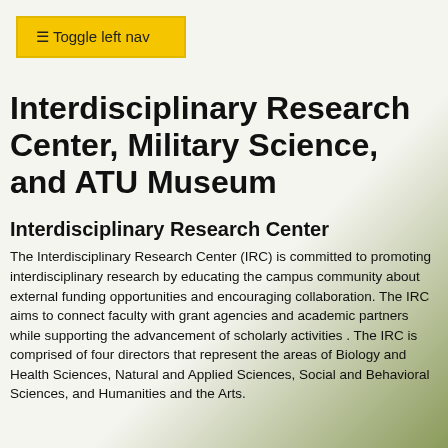☰ Toggle left nav
Interdisciplinary Research Center, Military Science, and ATU Museum
Interdisciplinary Research Center
The Interdisciplinary Research Center (IRC) is committed to promoting interdisciplinary research by educating the campus community about external funding opportunities and encouraging collaboration. The IRC aims to connect faculty with grant agencies and academic partners while supporting the advancement of scholarly activities . The IRC is comprised of four directors that represent the areas of Biology and Health Sciences, Natural and Applied Sciences, Social and Behavioral Sciences, and Humanities and the Arts.